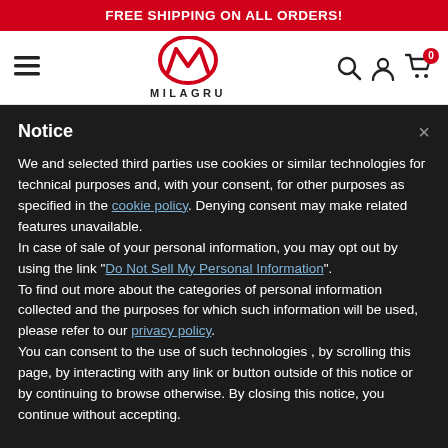FREE SHIPPING ON ALL ORDERS!
[Figure (logo): Milagru logo with stylized M in circle, red color, brand name MILAGRU below]
Notice
We and selected third parties use cookies or similar technologies for technical purposes and, with your consent, for other purposes as specified in the cookie policy. Denying consent may make related features unavailable.
In case of sale of your personal information, you may opt out by using the link "Do Not Sell My Personal Information".
To find out more about the categories of personal information collected and the purposes for which such information will be used, please refer to our privacy policy.
You can consent to the use of such technologies , by scrolling this page, by interacting with any link or button outside of this notice or by continuing to browse otherwise. By closing this notice, you continue without accepting.